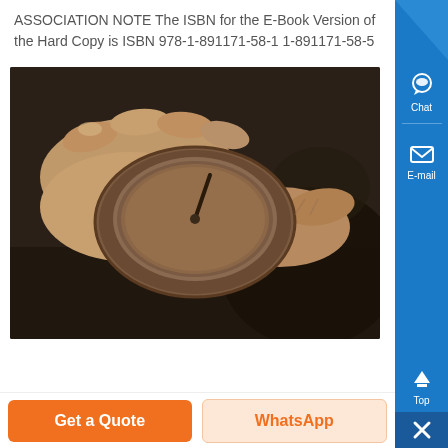ASSOCIATION NOTE The ISBN for the E-Book Version of the Hard Copy is ISBN 978-1-891171-58-1 1-891171-58-5
[Figure (photo): A person's hands holding a round, worn gauge or pressure indicator with a dial face, placed on a dark surface. The gauge appears old and dusty.]
Get a Quote
WhatsApp